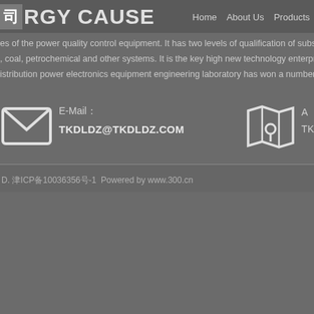司RGY CAUSE   Home   About Us   Products
es of the power quality control equipment. It has two levels of qualification of substatio
, coal, petrochemical and other systems. It is the key high new technology enterprise
istribution power electronics equipment engineering laboratory has won a number of
E-Mail： TKDLDZ@TKDLDZ.COM
A… TK…
D. 津ICP备10036356号-1  Powered by www.300.cn